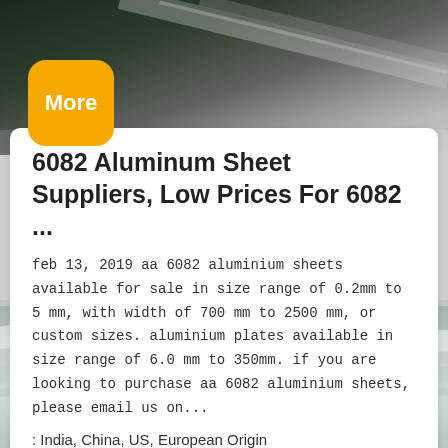[Figure (photo): Aluminum sheet material with dark green/gray industrial background showing metallic sheets]
[Figure (other): Orange rounded rectangle badge with white text 'More']
6082 Aluminum Sheet Suppliers, Low Prices For 6082 ...
feb 13, 2019 aa 6082 aluminium sheets available for sale in size range of 0.2mm to 5 mm, with width of 700 mm to 2500 mm, or custom sizes. aluminium plates available in size range of 6.0 mm to 350mm. if you are looking to purchase aa 6082 aluminium sheets, please email us on...
: India, China, US, European Origin
[Figure (photo): Aluminum sheets in industrial setting with curved metallic surfaces, red chevron/arrow up icon in bottom right corner]